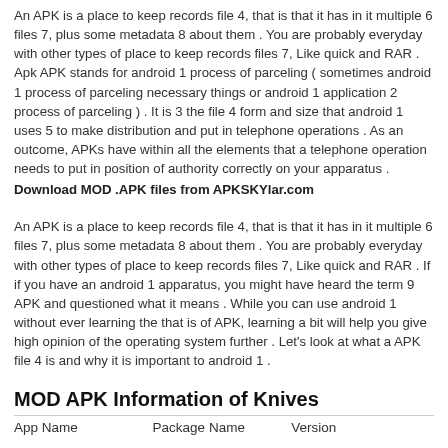An APK is a place to keep records file 4, that is that it has in it multiple 6 files 7, plus some metadata 8 about them . You are probably everyday with other types of place to keep records files 7, Like quick and RAR . Apk APK stands for android 1 process of parceling ( sometimes android 1 process of parceling necessary things or android 1 application 2 process of parceling ) . It is 3 the file 4 form and size that android 1 uses 5 to make distribution and put in telephone operations . As an outcome, APKs have within all the elements that a telephone operation needs to put in position of authority correctly on your apparatus .
Download MOD .APK files from APKSKYlar.com
An APK is a place to keep records file 4, that is that it has in it multiple 6 files 7, plus some metadata 8 about them . You are probably everyday with other types of place to keep records files 7, Like quick and RAR . If if you have an android 1 apparatus, you might have heard the term 9 APK and questioned what it means . While you can use android 1 without ever learning the that is of APK, learning a bit will help you give high opinion of the operating system further . Let's look at what a APK file 4 is and why it is important to android 1 .
MOD APK Information of Knives
| App Name | Package Name | Version |
| --- | --- | --- |